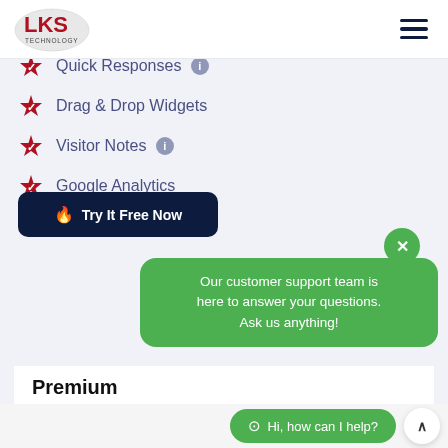LKS Technology
Mobile + Desktop Apps
Quick Responses
Drag & Drop Widgets
Visitor Notes
Google Analytics
Try It Free Now
Premium
$299 / monthly
Our customer support team is here to answer your questions. Ask us anything!
Hi, how can I help?